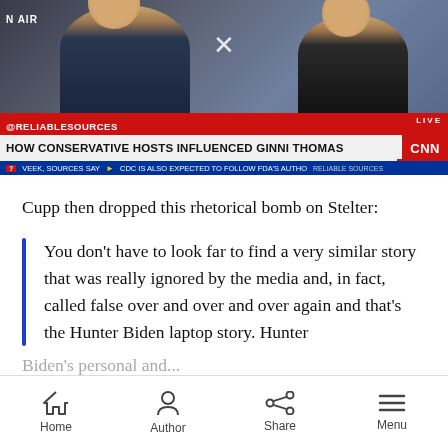[Figure (screenshot): CNN Reliable Sources TV screenshot showing two hosts. Lower-third red bar reads '@RELIABLESOURCES' and 'LIVE'. White headline bar reads 'HOW CONSERVATIVE HOSTS INFLUENCED GINNI THOMAS' with CNN logo. Blue ticker reads 'VEEK, SOURCES SAY ► CDC IS ALSO EXPECTED TO FOLLOW FDA'S AUTHO RELIABLE SOURCES'.]
Cupp then dropped this rhetorical bomb on Stelter:
You don't have to look far to find a very similar story that was really ignored by the media and, in fact, called false over and over and over again and that's the Hunter Biden laptop story. Hunter
Home  Author  Share  Menu